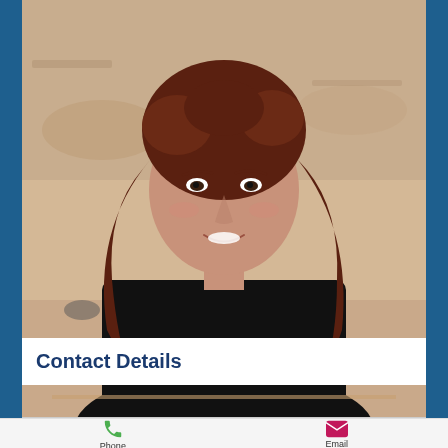[Figure (photo): Portrait photo of a woman with brown curly hair wearing a black top, smiling, with a painting in the background.]
Contact Details
Phone
Email